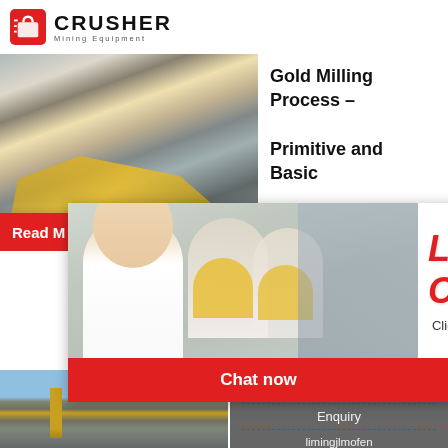[Figure (logo): Crusher Mining Equipment logo with red bag/shopping cart icon and bold CRUSHER text]
[Figure (photo): Quarry mining site with heavy machinery and crusher equipment]
Gold Milling Process – Primitive and Basic
24Hrs Online
Read More
[Figure (screenshot): Live chat popup overlay with workers in hard hats, LIVE CHAT text in red italic, Click for a Free Consultation, Chat now button (red), Chat later button (dark), and headset customer service rep on right]
[Figure (photo): Industrial mineral processing plant with conveyor belts and equipment]
Grinding Mineral Processing
2020-7-7
Need questions & suggestion?
Chat Now
Enquiry
limingjlmofen@sina.com